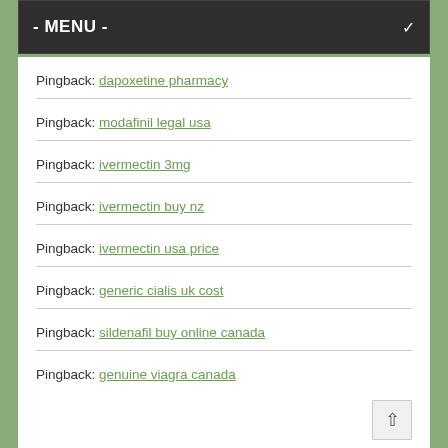- MENU -
Pingback: dapoxetine pharmacy
Pingback: modafinil legal usa
Pingback: ivermectin 3mg
Pingback: ivermectin buy nz
Pingback: ivermectin usa price
Pingback: generic cialis uk cost
Pingback: sildenafil buy online canada
Pingback: genuine viagra canada